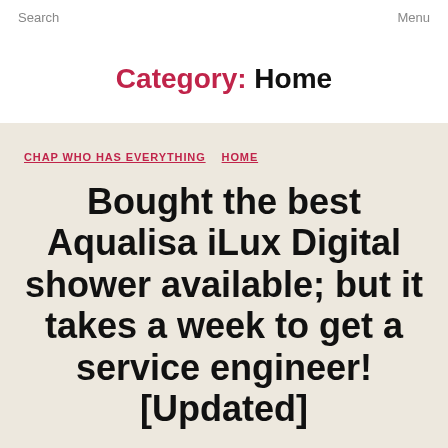Search   Menu
Category: Home
CHAP WHO HAS EVERYTHING   HOME
Bought the best Aqualisa iLux Digital shower available; but it takes a week to get a service engineer! [Updated]